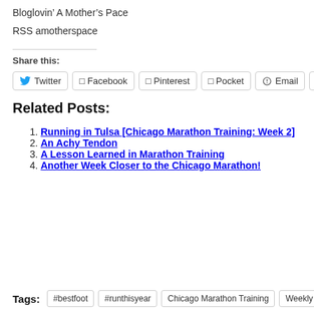Bloglovin' A Mother's Pace
RSS amotherspace
Share this:
Twitter | Facebook | Pinterest | Pocket | Email | More
Related Posts:
Running in Tulsa [Chicago Marathon Training: Week 2]
An Achy Tendon
A Lesson Learned in Marathon Training
Another Week Closer to the Chicago Marathon!
Tags: #bestfoot | #runthisyear | Chicago Marathon Training | Weekly